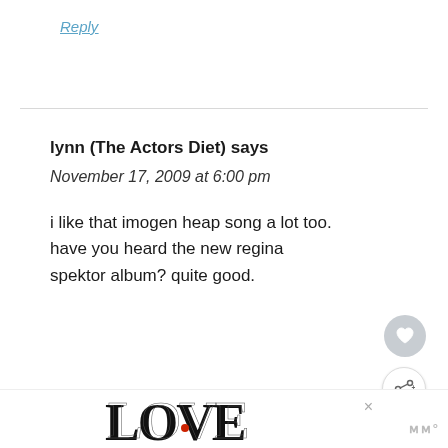Reply
lynn (The Actors Diet) says
November 17, 2009 at 6:00 pm
i like that imogen heap song a lot too. have you heard the new regina spektor album? quite good.
Reply
[Figure (illustration): LOVE decorative text logo in black and white with intricate patterns, small red accent]
WHAT'S NEXT → Beans, Beans